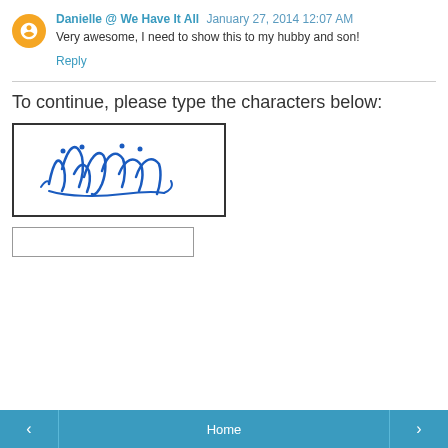Danielle @ We Have It All  January 27, 2014 12:07 AM
Very awesome, I need to show this to my hubby and son!
Reply
To continue, please type the characters below:
[Figure (other): CAPTCHA image showing handwritten-style cursive blue text reading 'indinde' or similar on white background, inside a black-bordered rectangle]
Home
‹  Home  ›